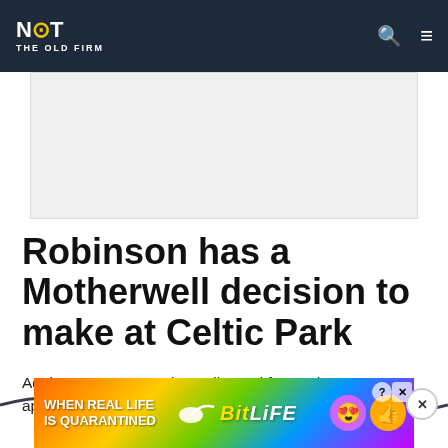NOT THE OLD FIRM
[Figure (other): Advertisement placeholder banner, light gray background]
Robinson has a Motherwell decision to make at Celtic Park
Against Rangers, Motherwell opted for a robust approach with two up front instead of...
[Figure (other): BitLife advertisement banner: WHEN REAL LIFE IS QUARANTINED with colorful gradient and cartoon emoji characters]